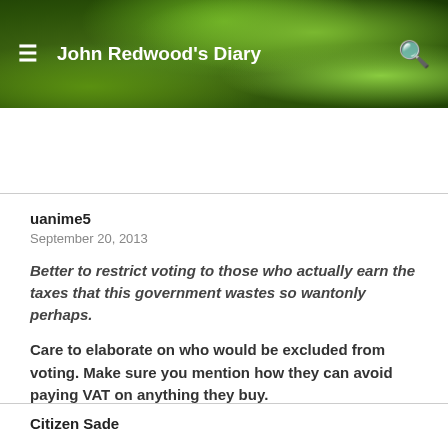[Figure (photo): Website header with green plant/leaf background image and navigation bar showing John Redwood's Diary title, hamburger menu icon on left, search icon on right]
uanime5
September 20, 2013
Better to restrict voting to those who actually earn the taxes that this government wastes so wantonly perhaps.
Care to elaborate on who would be excluded from voting. Make sure you mention how they can avoid paying VAT on anything they buy.
Citizen Sade